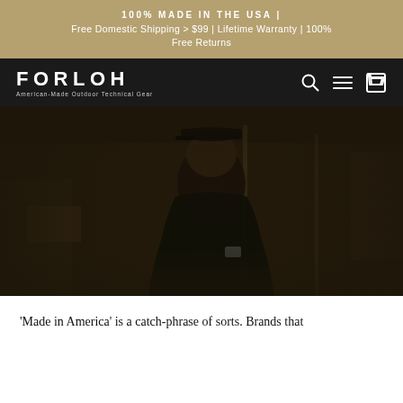100% MADE IN THE USA | Free Domestic Shipping > $99 | Lifetime Warranty | 100% Free Returns
[Figure (screenshot): FORLOH brand navigation bar with logo on left and search, menu, and cart icons on right, on dark background]
[Figure (photo): Dark-toned photo of a man wearing a black cap and black shirt, smiling, in what appears to be a manufacturing or workshop environment]
'Made in America' is a catch-phrase of sorts. Brands that